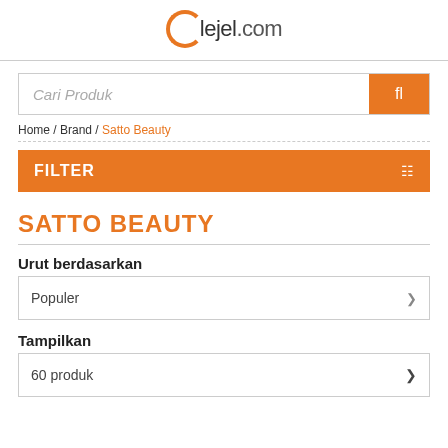lejel.com
[Figure (screenshot): Search bar with placeholder text 'Cari Produk' and orange search button]
Home / Brand / Satto Beauty
[Figure (infographic): Orange FILTER bar with filter icon]
SATTO BEAUTY
Urut berdasarkan
Populer
Tampilkan
60 produk